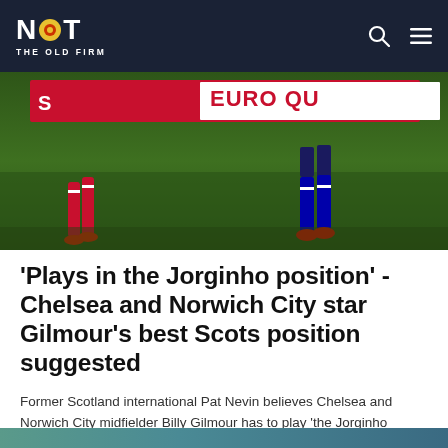NOT THE OLD FIRM
[Figure (photo): Football players on a pitch, one in red kit and one in dark blue, near advertising boards reading 'EURO QU...']
'Plays in the Jorginho position' - Chelsea and Norwich City star Gilmour's best Scots position suggested
Former Scotland international Pat Nevin believes Chelsea and Norwich City midfielder Billy Gilmour has to play 'the Jorginho position' for Scotland. ...
September 3, 2021
[Figure (photo): Partial view of another article's hero image at the bottom of the page]